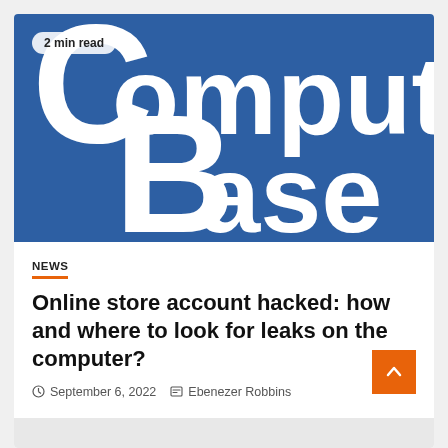[Figure (logo): ComputerBase logo on a blue background with '2 min read' badge in top-left corner. Large white stylized 'CB' letters with 'omputer' and 'ase' text forming 'ComputerBase'.]
NEWS
Online store account hacked: how and where to look for leaks on the computer?
September 6, 2022   Ebenezer Robbins